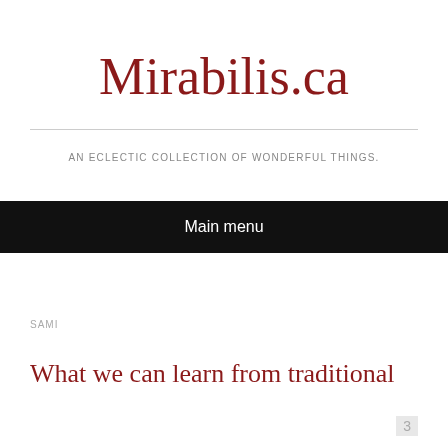Mirabilis.ca
AN ECLECTIC COLLECTION OF WONDERFUL THINGS.
Main menu
SAMI
What we can learn from traditional